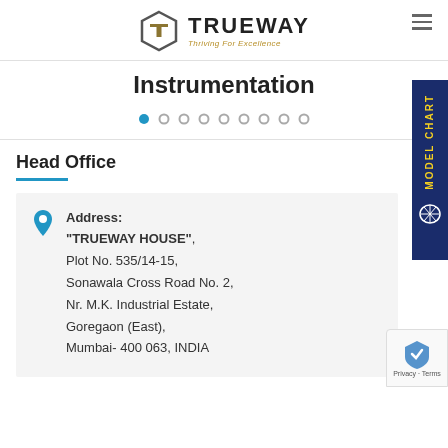[Figure (logo): Trueway logo with hexagonal T icon and tagline 'Thriving For Excellence']
Instrumentation
[Figure (infographic): Pagination dots row: 9 dots, first one filled/active in blue]
Head Office
Address: "TRUEWAY HOUSE", Plot No. 535/14-15, Sonawala Cross Road No. 2, Nr. M.K. Industrial Estate, Goregaon (East), Mumbai- 400 063, INDIA